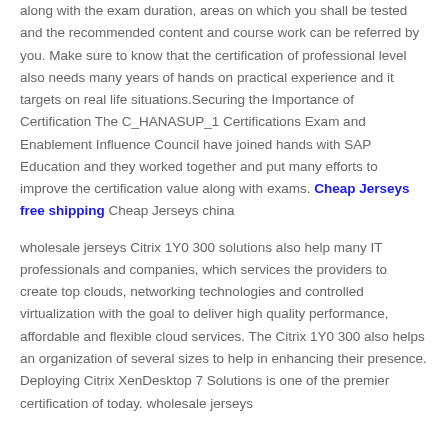along with the exam duration, areas on which you shall be tested and the recommended content and course work can be referred by you. Make sure to know that the certification of professional level also needs many years of hands on practical experience and it targets on real life situations.Securing the Importance of Certification The C_HANASUP_1 Certifications Exam and Enablement Influence Council have joined hands with SAP Education and they worked together and put many efforts to improve the certification value along with exams. Cheap Jerseys free shipping Cheap Jerseys china
wholesale jerseys Citrix 1Y0 300 solutions also help many IT professionals and companies, which services the providers to create top clouds, networking technologies and controlled virtualization with the goal to deliver high quality performance, affordable and flexible cloud services. The Citrix 1Y0 300 also helps an organization of several sizes to help in enhancing their presence. Deploying Citrix XenDesktop 7 Solutions is one of the premier certification of today. wholesale jerseys